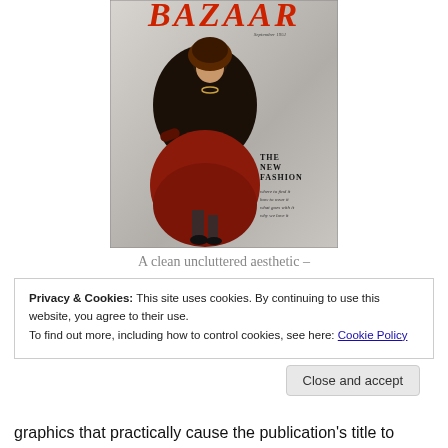[Figure (photo): Harper's Bazaar magazine cover showing a fashion model in a red skirt and dark fur coat, with the BAZAAR masthead in red at the top and text reading 'THE NEW FASHION where to find it how to wear it what goes with it why we love it']
A clean uncluttered aesthetic –
Privacy & Cookies: This site uses cookies. By continuing to use this website, you agree to their use.
To find out more, including how to control cookies, see here: Cookie Policy
Close and accept
graphics that practically cause the publication's title to